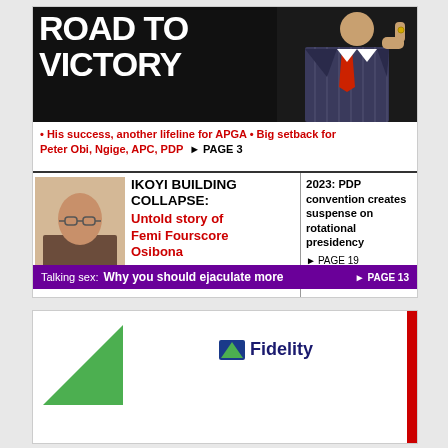[Figure (photo): Newspaper front page showing 'ROAD TO VICTORY' headline in large white text on black background with photo of man in suit giving thumbs up, red subtitle text, and multiple news stories]
ROAD TO VICTORY
• His success, another lifeline for APGA • Big setback for Peter Obi, Ngige, APC, PDP ► PAGE 3
IKOYI BUILDING COLLAPSE: Untold story of Femi Fourscore Osibona ► PAGE 10
2023: PDP convention creates suspense on rotational presidency ► PAGE 19
Talking sex: Why you should ejaculate more ► PAGE 13
[Figure (logo): Fidelity bank advertisement with green triangle logo and Fidelity text, red stripe on right side]